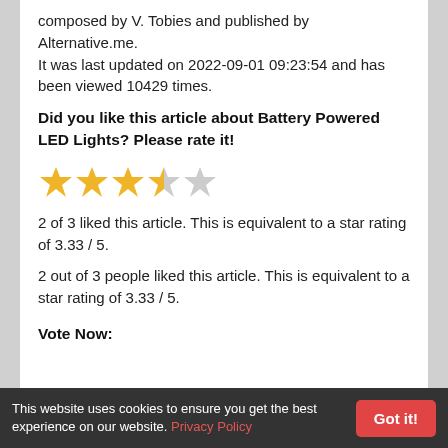composed by V. Tobies and published by Alternative.me.
It was last updated on 2022-09-01 09:23:54 and has been viewed 10429 times.
Did you like this article about Battery Powered LED Lights? Please rate it!
[Figure (other): Star rating widget showing 3.33 out of 5 stars: 3 filled yellow stars, 1 half-filled yellow star, 1 gray empty star]
2 of 3 liked this article. This is equivalent to a star rating of 3.33 / 5.
2 out of 3 people liked this article. This is equivalent to a star rating of 3.33 / 5.
Vote Now:
This website uses cookies to ensure you get the best experience on our website. Privacy Policy